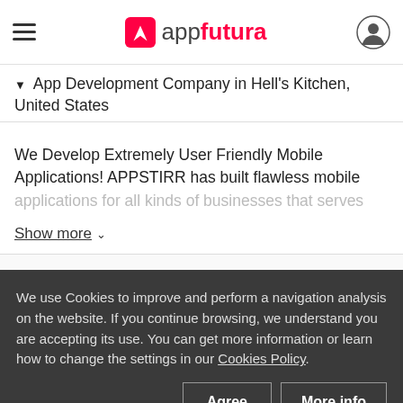appfutura
App Development Company in Hell's Kitchen, United States
We Develop Extremely User Friendly Mobile Applications! APPSTIRR has built flawless mobile applications for all kinds of businesses that serves
Show more
Hell's Kitchen, Unit...
We use Cookies to improve and perform a navigation analysis on the website. If you continue browsing, we understand you are accepting its use. You can get more information or learn how to change the settings in our Cookies Policy.